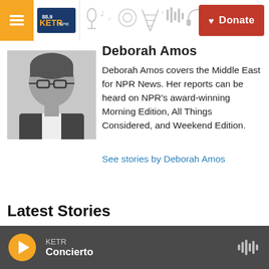KETR NPR radio station navigation header with Donate button
Deborah Amos
[Figure (photo): Black and white headshot of Deborah Amos wearing glasses and a dark blazer]
Deborah Amos covers the Middle East for NPR News. Her reports can be heard on NPR's award-winning Morning Edition, All Things Considered, and Weekend Edition.
See stories by Deborah Amos
Latest Stories
[Figure (photo): Thumbnail image for a news story, partially visible]
Hunting season!
KETR Concierto — audio player bar